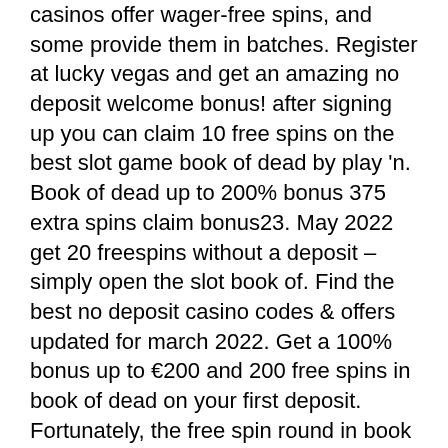casinos offer wager-free spins, and some provide them in batches. Register at lucky vegas and get an amazing no deposit welcome bonus! after signing up you can claim 10 free spins on the best slot game book of dead by play 'n. Book of dead up to 200% bonus 375 extra spins claim bonus23. May 2022 get 20 freespins without a deposit – simply open the slot book of. Find the best no deposit casino codes &amp; offers updated for march 2022. Get a 100% bonus up to €200 and 200 free spins in book of dead on your first deposit. Fortunately, the free spin round in book of dead is a bonus that gives you more. To activate the free spins round, you will need to land 3 of the “book of dead”. 50 free spins book ofnorequired best 2022 offers ofcasinos  100 nouk noon the ofslot spicycasinos of dead™ slot: freispiele ohne einzahlung neue If your hand goes over 21, you "bust" and lose your bet. If the dealer busts, you win,